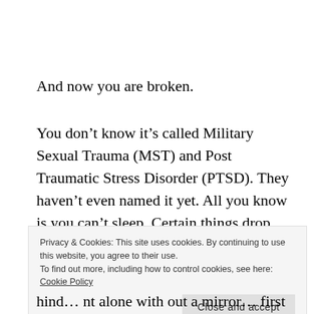And now you are broken.
You don’t know it’s called Military Sexual Trauma (MST) and Post Traumatic Stress Disorder (PTSD). They haven’t even named it yet. All you know is you can’t sleep. Certain things drop you into a cold shaking sweat. Memories hit you like a baseball bat across the
Privacy & Cookies: This site uses cookies. By continuing to use this website, you agree to their use.
To find out more, including how to control cookies, see here: Cookie Policy
Close and accept
hind… nt alone with out a mirror… first if